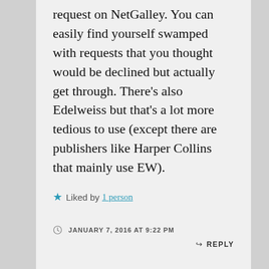request on NetGalley. You can easily find yourself swamped with requests that you thought would be declined but actually get through. There’s also Edelweiss but that’s a lot more tedious to use (except there are publishers like Harper Collins that mainly use EW).
★ Liked by 1 person
JANUARY 7, 2016 AT 9:22 PM
↪ REPLY